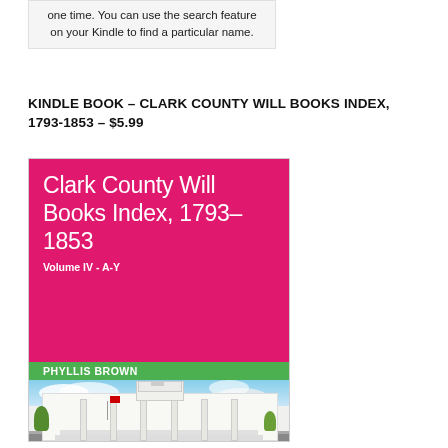one time. You can use the search feature on your Kindle to find a particular name.
KINDLE BOOK – CLARK COUNTY WILL BOOKS INDEX, 1793-1853 – $5.99
[Figure (photo): Book cover of 'Clark County Will Books Index, 1793-1853, Volume IV - A-Y' by Phyllis Brown. Pink/magenta background with white title text, green author bar, and photo of a white courthouse with steeple.]